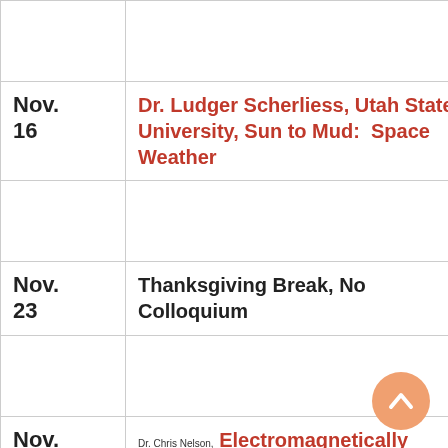| Date | Event |
| --- | --- |
|  |  |
| Nov.
16 | Dr. Ludger Scherliess, Utah State University, Sun to Mud:  Space Weather |
|  |  |
| Nov.
23 | Thanksgiving Break, No Colloquium |
|  |  |
| Nov.
30 | Dr. Chris Nelson, Electromagnetically Induced Transparency in a Four Level Atomic System |